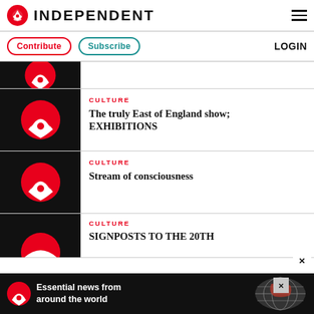INDEPENDENT
Contribute | Subscribe | LOGIN
[Figure (screenshot): Partially visible article thumbnail with Independent eagle logo on black background]
CULTURE
The truly East of England show; EXHIBITIONS
CULTURE
Stream of consciousness
CULTURE
SIGNPOSTS TO THE 20TH
Essential news from around the world